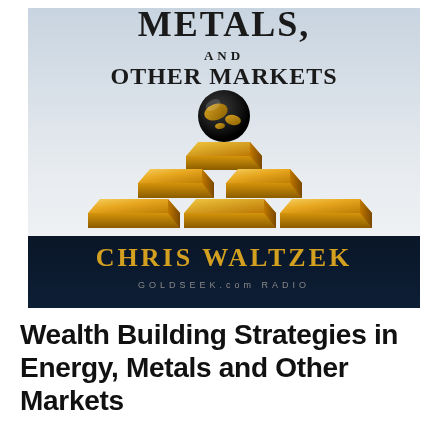[Figure (illustration): Book cover of 'Wealth Building Strategies in Energy, Metals and Other Markets' by Chris Waltzek (GoldSeek.com Radio). Shows gold bars stacked in a pyramid with a globe on top, large text reading 'METALS, AND OTHER MARKETS' at the top, author name 'CHRIS WALTZEK' and 'GOLDSEEK.com RADIO' at the bottom on a dark navy background.]
Wealth Building Strategies in Energy, Metals and Other Markets